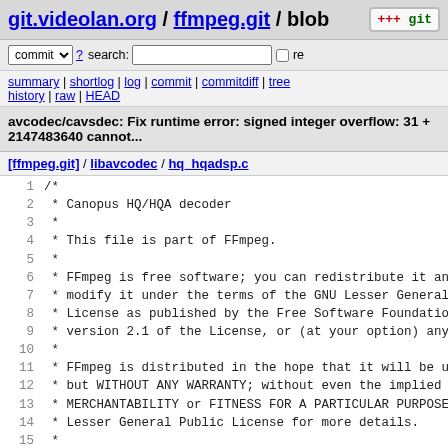git.videolan.org / ffmpeg.git / blob
commit ? search: re
summary | shortlog | log | commit | commitdiff | tree history | raw | HEAD
avcodec/cavsdec: Fix runtime error: signed integer overflow: 31 + 2147483640 cannot...
[ffmpeg.git] / libavcodec / hq_hqadsp.c
[Figure (screenshot): Source code view of hq_hqadsp.c showing lines 1-18 with C comment block for FFmpeg license header]
1 /*
2  * Canopus HQ/HQA decoder
3  *
4  * This file is part of FFmpeg.
5  *
6  * FFmpeg is free software; you can redistribute it and
7  * modify it under the terms of the GNU Lesser General
8  * License as published by the Free Software Foundation
9  * version 2.1 of the License, or (at your option) any
10  *
11  * FFmpeg is distributed in the hope that it will be us
12  * but WITHOUT ANY WARRANTY; without even the implied w
13  * MERCHANTABILITY or FITNESS FOR A PARTICULAR PURPOSE.
14  * Lesser General Public License for more details.
15  *
16  * You should have received a copy of the GNU Lesser Ge
17  * License along with FFmpeg; if not, write to the Free
18  * Foundation, Inc., 51 Franklin Street, Fifth Floor,